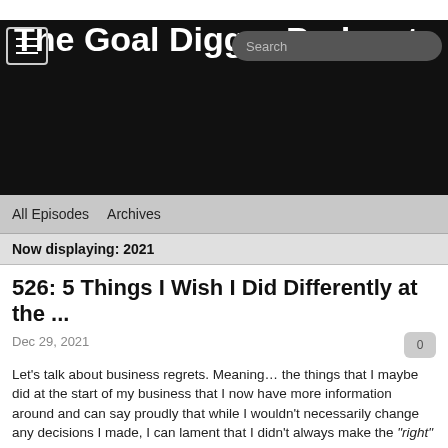The Goal Digger Podcast
All Episodes   Archives
Now displaying: 2021
526: 5 Things I Wish I Did Differently at the ...
Dec 29, 2021
Let’s talk about business regrets. Meaning… the things that I maybe did at the start of my business that I now have more information around and can say proudly that while I wouldn’t necessarily change any decisions I made, I can lament that I didn’t always make the “right” ones early on.
If I can help anyone else in their first year or years of running a business avoid these things, then I want to be as open and honest as possible about them! Ya ready to live with no business regrets?